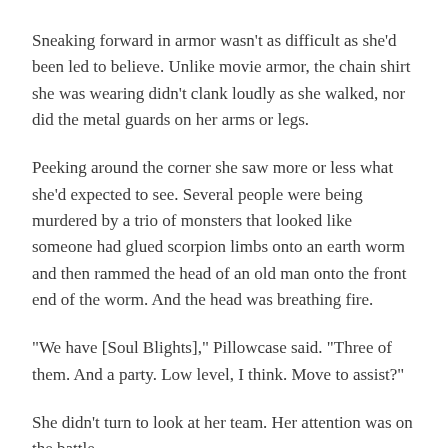Sneaking forward in armor wasn't as difficult as she'd been led to believe. Unlike movie armor, the chain shirt she was wearing didn't clank loudly as she walked, nor did the metal guards on her arms or legs.
Peeking around the corner she saw more or less what she'd expected to see. Several people were being murdered by a trio of monsters that looked like someone had glued scorpion limbs onto an earth worm and then rammed the head of an old man onto the front end of the worm. And the head was breathing fire.
“We have [Soul Blights],” Pillowcase said. “Three of them. And a party. Low level, I think. Move to assist?”
She didn’t turn to look at her team. Her attention was on the battle.